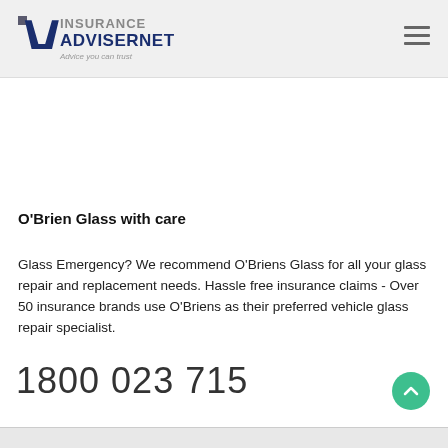Insurance Advisernet — Advice you can trust
O'Brien Glass with care
Glass Emergency? We recommend O'Briens Glass for all your glass repair and replacement needs. Hassle free insurance claims - Over 50 insurance brands use O'Briens as their preferred vehicle glass repair specialist.
1800 023 715